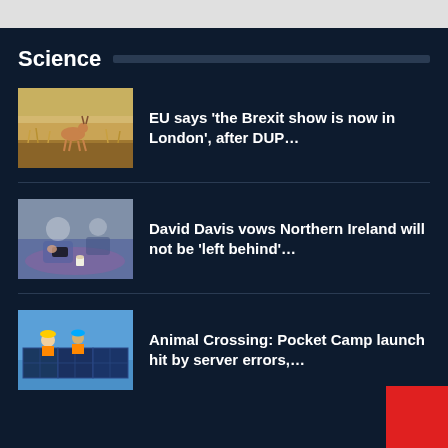Science
[Figure (photo): Antelope standing in dry grassland field]
EU says ‘the Brexit show is now in London’, after DUP…
[Figure (photo): Person reviewing documents at a meeting table with coffee]
David Davis vows Northern Ireland will not be ‘left behind’…
[Figure (photo): Workers with hard hats installing solar panels]
Animal Crossing: Pocket Camp launch hit by server errors,…